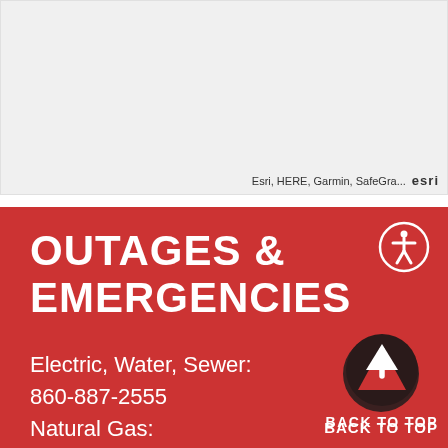[Figure (map): Map area showing geographic view with Esri attribution]
Esri, HERE, Garmin, SafeGra... esri
OUTAGES & EMERGENCIES
Electric, Water, Sewer:
860-887-2555
Natural Gas:
860-887-7207
[Figure (logo): Back to Top button with upward arrow logo]